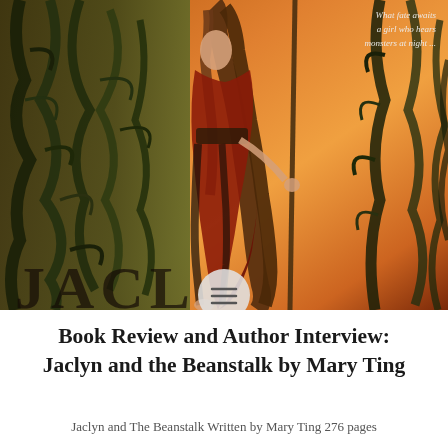[Figure (illustration): Book cover art for 'Jaclyn and the Beanstalk' by Mary Ting. Shows a girl with long flowing brown hair wearing a red/brown cape, holding a staff or pole, standing among dark twisted beanstalk vines. Orange and warm reddish sky in the background. Top right corner has italic tagline text: 'What fate awaits a girl who hears monsters at night ...' Partial large letters visible at the very bottom of the cover image. A circular menu button with three horizontal lines is overlaid at the bottom center.]
Book Review and Author Interview: Jaclyn and the Beanstalk by Mary Ting
Jaclyn and The Beanstalk Written by Mary Ting 276 pages